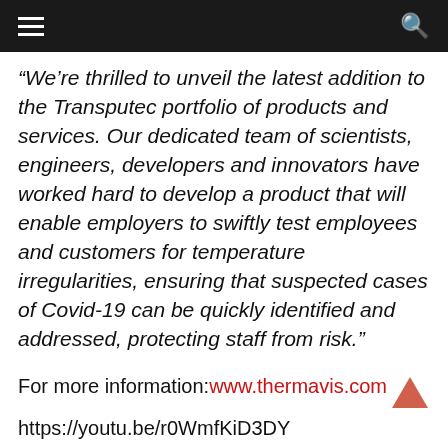≡  🔍
“We’re thrilled to unveil the latest addition to the Transputec portfolio of products and services. Our dedicated team of scientists, engineers, developers and innovators have worked hard to develop a product that will enable employers to swiftly test employees and customers for temperature irregularities, ensuring that suspected cases of Covid-19 can be quickly identified and addressed, protecting staff from risk.”
For more information:www.thermavis.com
https://youtu.be/r0WmfKiD3DY